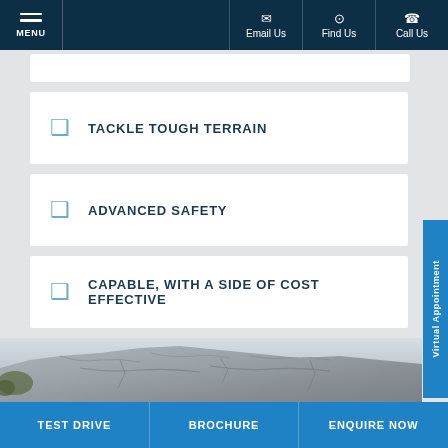MENU | Email Us | Find Us | Call Us
TACKLE TOUGH TERRAIN
ADVANCED SAFETY
CAPABLE, WITH A SIDE OF COST EFFECTIVE
[Figure (photo): Rocky terrain / stone outcrop landscape photo]
Virtual Appointment
TEST DRIVE | BROCHURE | ENQUIRE NOW